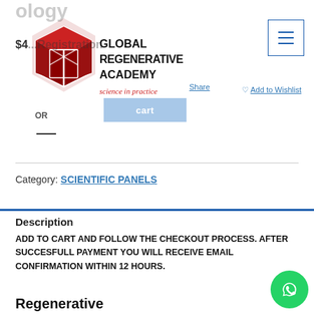ology
[Figure (logo): Global Regenerative Academy logo with red hexagonal geometric design and tagline 'science in practice']
$4... Registration
Add to Wishlist
Add to cart
OR
Category: SCIENTIFIC PANELS
Description
ADD TO CART AND FOLLOW THE CHECKOUT PROCESS. AFTER SUCCESFULL PAYMENT YOU WILL RECEIVE EMAIL CONFIRMATION WITHIN 12 HOURS.